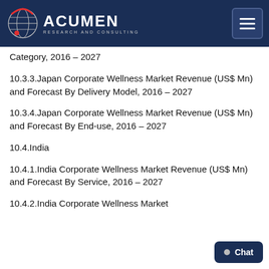Acumen Research and Consulting
Category, 2016 – 2027
10.3.3.Japan Corporate Wellness Market Revenue (US$ Mn) and Forecast By Delivery Model, 2016 – 2027
10.3.4.Japan Corporate Wellness Market Revenue (US$ Mn) and Forecast By End-use, 2016 – 2027
10.4.India
10.4.1.India Corporate Wellness Market Revenue (US$ Mn) and Forecast By Service, 2016 – 2027
10.4.2.India Corporate Wellness Market